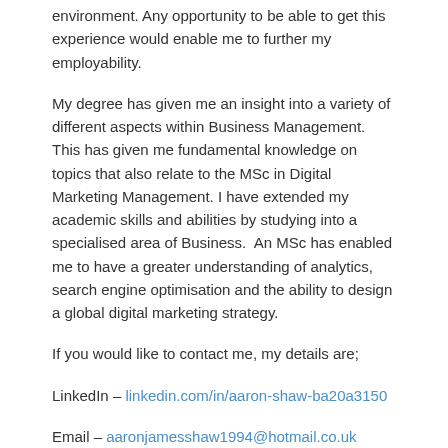environment. Any opportunity to be able to get this experience would enable me to further my employability.
My degree has given me an insight into a variety of different aspects within Business Management. This has given me fundamental knowledge on topics that also relate to the MSc in Digital Marketing Management. I have extended my academic skills and abilities by studying into a specialised area of Business.  An MSc has enabled me to have a greater understanding of analytics, search engine optimisation and the ability to design a global digital marketing strategy.
If you would like to contact me, my details are;
LinkedIn – linkedin.com/in/aaron-shaw-ba20a3150
Email – aaronjamesshaw1994@hotmail.co.uk
Leah Mahon